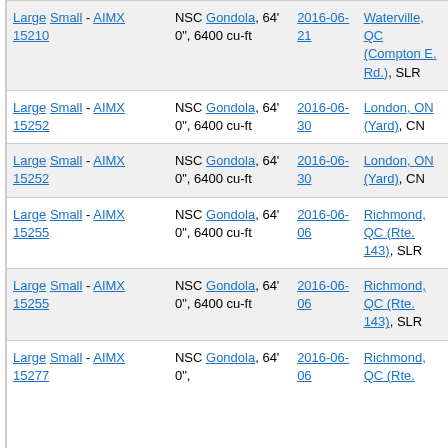| Size | Car Type | Date | Location |
| --- | --- | --- | --- |
| Large Small - AIMX 15210 | NSC Gondola, 64' 0", 6400 cu-ft | 2016-06-21 | Waterville, QC (Compton E. Rd.), SLR |
| Large Small - AIMX 15252 | NSC Gondola, 64' 0", 6400 cu-ft | 2016-06-30 | London, ON (Yard), CN |
| Large Small - AIMX 15252 | NSC Gondola, 64' 0", 6400 cu-ft | 2016-06-30 | London, ON (Yard), CN |
| Large Small - AIMX 15255 | NSC Gondola, 64' 0", 6400 cu-ft | 2016-06-06 | Richmond, QC (Rte. 143), SLR |
| Large Small - AIMX 15255 | NSC Gondola, 64' 0", 6400 cu-ft | 2016-06-06 | Richmond, QC (Rte. 143), SLR |
| Large Small - AIMX 15277 | NSC Gondola, 64' 0", ... | 2016-06-06 | Richmond, QC (Rte. ... |